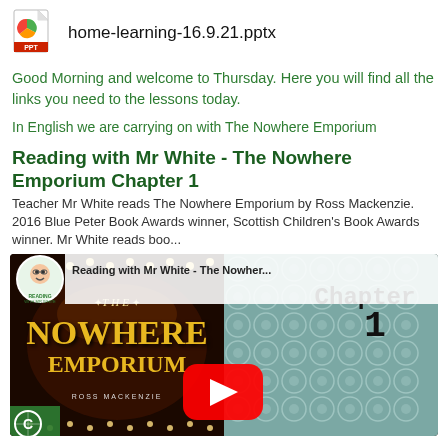[Figure (other): PowerPoint file icon (green/red PPT icon)]
home-learning-16.9.21.pptx
Good Morning and welcome to Thursday. Here you will find all the links you need to the lessons today.
In English we are carrying on with The Nowhere Emporium
Reading with Mr White - The Nowhere Emporium Chapter 1
Teacher Mr White reads The Nowhere Emporium by Ross Mackenzie. 2016 Blue Peter Book Awards winner, Scottish Children's Book Awards winner. Mr White reads boo...
[Figure (screenshot): YouTube video thumbnail for 'Reading with Mr White - The Nowher...' showing The Nowhere Emporium book cover on the left (with gold text on dark background) and Chapter 1 text on the right (teal background with floral pattern). A YouTube play button is overlaid in the center. A Reading with Mr White avatar appears top left.]